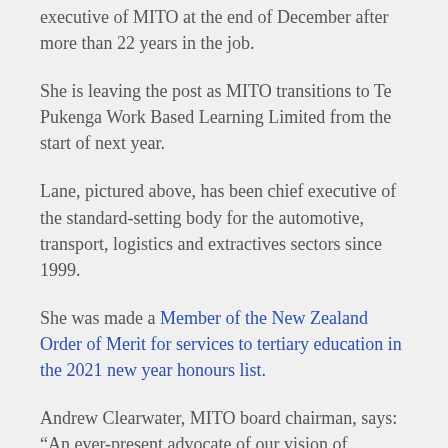executive of MITO at the end of December after more than 22 years in the job.
She is leaving the post as MITO transitions to Te Pukenga Work Based Learning Limited from the start of next year.
Lane, pictured above, has been chief executive of the standard-setting body for the automotive, transport, logistics and extractives sectors since 1999.
She was made a Member of the New Zealand Order of Merit for services to tertiary education in the 2021 new year honours list.
Andrew Clearwater, MITO board chairman, says: “An ever-present advocate of our vision of enriching lives and inspiring futures, Janet’s legacy at MITO is simply outstanding.”